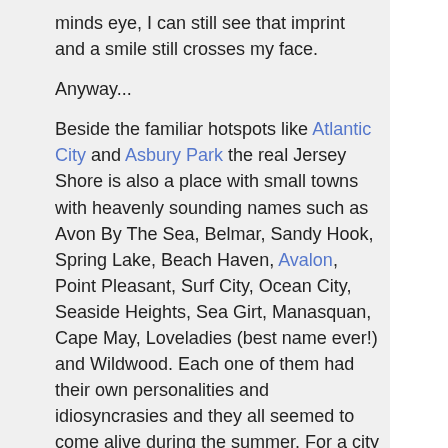minds eye, I can still see that imprint and a smile still crosses my face.
Anyway...
Beside the familiar hotspots like Atlantic City and Asbury Park the real Jersey Shore is also a place with small towns with heavenly sounding names such as Avon By The Sea, Belmar, Sandy Hook, Spring Lake, Beach Haven, Avalon, Point Pleasant, Surf City, Ocean City, Seaside Heights, Sea Girt, Manasquan, Cape May, Loveladies (best name ever!) and Wildwood. Each one of them had their own personalities and idiosyncrasies and they all seemed to come alive during the summer. For a city boy like me, to spend